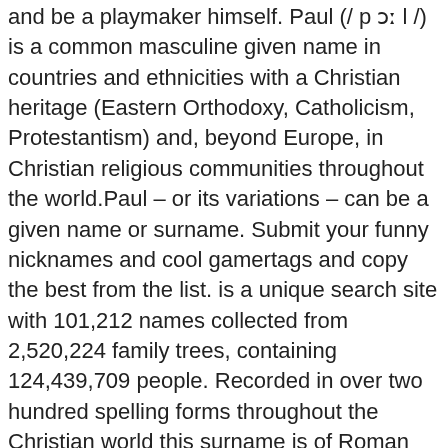and be a playmaker himself. Paul (/ p ɔː l /) is a common masculine given name in countries and ethnicities with a Christian heritage (Eastern Orthodoxy, Catholicism, Protestantism) and, beyond Europe, in Christian religious communities throughout the world.Paul – or its variations – can be a given name or surname. Submit your funny nicknames and cool gamertags and copy the best from the list. is a unique search site with 101,212 names collected from 2,520,224 family trees, containing 124,439,709 people. Recorded in over two hundred spelling forms throughout the Christian world this surname is of Roman (pre Christian) origins. There is no sense in that! By using this site you agree to the following Terms of Use. Share. Create good names for games, profiles, brands or social networks. Submit your funny nicknames and cool gamertags and copy the best from the list. Copy the link to this page and share it with your friends. Nicknames, cool fonts, symbols and tags for Paul – ☆꧁ ꧂ ⊕ ꧁a꧂←⊕꧁꧂☆, ꧁☆꧁a꧂l☆꧂, ꧁꧂PÂÛŁOO, ꧁꧂꧁4꧂P A U L, Paulo, Pauli. I just hate it when people give no thought to their names and the